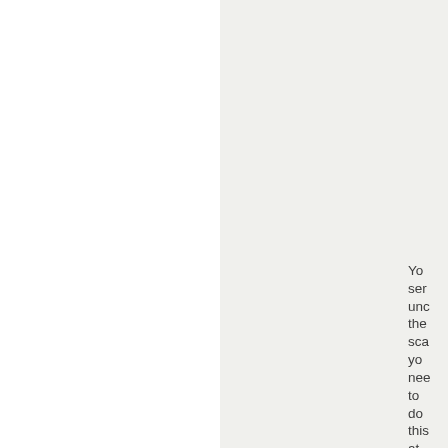You send under the sca you nee to do this at,